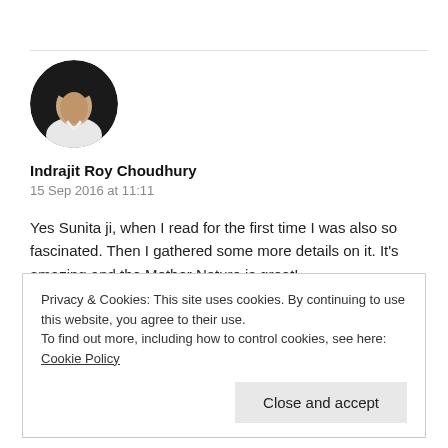[Figure (photo): Circular avatar photo of a man in a white shirt against a dark background]
Indrajit Roy Choudhury
15 Sep 2016 at 11:11
Yes Sunita ji, when I read for the first time I was also so fascinated. Then I gathered some more details on it. It's amazing and the Mother Nature is great!
Privacy & Cookies: This site uses cookies. By continuing to use this website, you agree to their use.
To find out more, including how to control cookies, see here: Cookie Policy
Close and accept